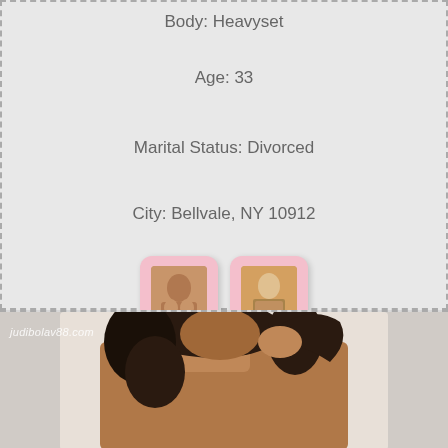Body: Heavyset
Age: 33
Marital Status: Divorced
City: Bellvale, NY 10912
[Figure (photo): Two small pink-bordered photo thumbnails]
[Figure (photo): Photo of a woman with curly dark hair, watermark judibolav88.com]